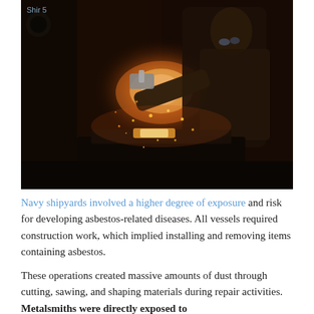[Figure (photo): A metalsmith/blacksmith worker hammering glowing hot metal on an anvil in a dark workshop, with sparks flying. The worker wears protective gear and an apron. A label 'Shir 5' appears in the top-left corner of the image.]
Navy shipyards involved a higher degree of exposure and risk for developing asbestos-related diseases. All vessels required construction work, which implied installing and removing items containing asbestos.
These operations created massive amounts of dust through cutting, sawing, and shaping materials during repair activities. Metalsmiths were directly exposed to